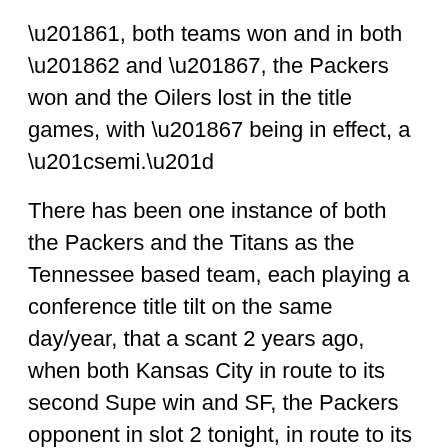'61, both teams won and in both '62 and '67, the Packers won and the Oilers lost in the title games, with '67 being in effect, a “semi.”
There has been one instance of both the Packers and the Titans as the Tennessee based team, each playing a conference title tilt on the same day/year, that a scant 2 years ago, when both Kansas City in route to its second Supe win and SF, the Packers opponent in slot 2 tonight, in route to its second straight Supe loss after wins in their first 5 such games, handed the Titans and Packers respectively, “semis.” defeats.
Getting to a Cincy/S.F. link, the teams played for Super Bowl berths on the same day/year in both '81 and '88, with both teams winning, before SF prevailed in both subsequent Supes, “covering” the first, but not the second.